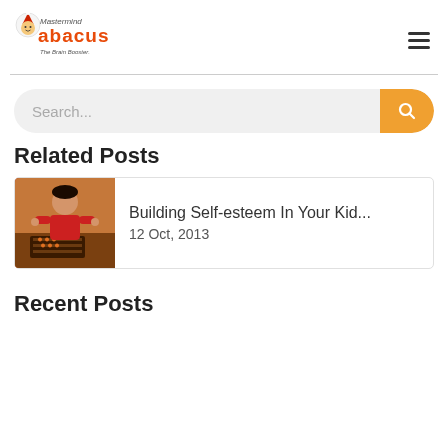[Figure (logo): Mastermind Abacus logo - The Brain Booster, with cartoon character]
Related Posts
[Figure (photo): Child in red shirt using an abacus at a desk]
Building Self-esteem In Your Kid...
12 Oct, 2013
Recent Posts